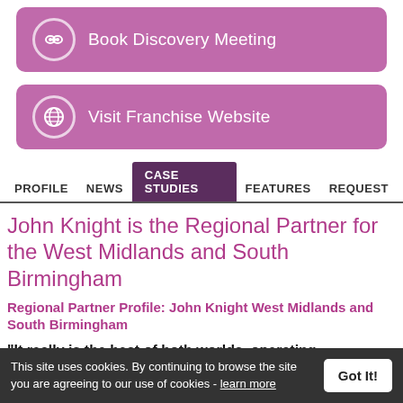[Figure (screenshot): Purple button: Book Discovery Meeting with handshake icon]
[Figure (screenshot): Purple button: Visit Franchise Website with globe icon]
PROFILE  NEWS  CASE STUDIES  FEATURES  REQUEST
John Knight is the Regional Partner for the West Midlands and South Birmingham
Regional Partner Profile: John Knight West Midlands and South Birmingham
"It really is the best of both worlds, operating independently but within a group of like-minded people under a reputable brand."
This site uses cookies. By continuing to browse the site you are agreeing to our use of cookies - learn more